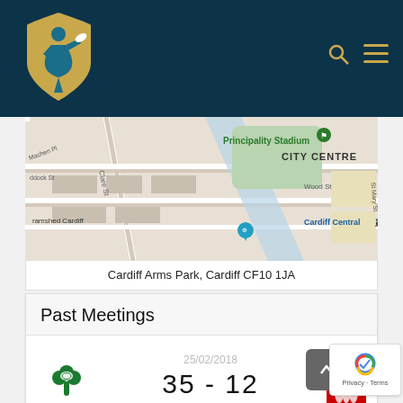[Figure (logo): Rugby union logo — blue rugby player figure with gold shield background on dark navy header]
[Figure (map): Google Maps view showing Principality Stadium, Cardiff Central station, CITY CENTRE area with streets including Clare St, Wood St, Park St, St Mary St, Machen Pl, Paddock St. ramshed Cardiff and Cardiff Central markers visible.]
Cardiff Arms Park, Cardiff CF10 1JA
Past Meetings
[Figure (logo): IRFU shamrock logo in green with text IRFU below]
25/02/2018
35 - 12
Women's 6 Nations
[Figure (logo): WRU logo partially visible on right side]